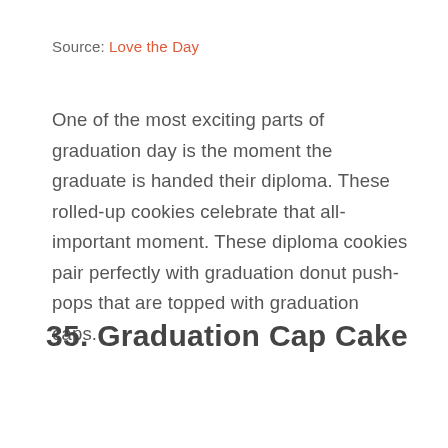Source: Love the Day
One of the most exciting parts of graduation day is the moment the graduate is handed their diploma. These rolled-up cookies celebrate that all-important moment. These diploma cookies pair perfectly with graduation donut push-pops that are topped with graduation caps.
35. Graduation Cap Cake